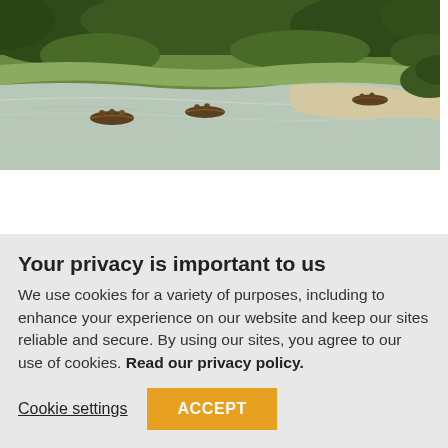[Figure (photo): Aerial/river-level view of people in boats floating down a wide, shallow Nebraska river surrounded by green vegetation and sandy banks.]
Eager to get on the water? Yeah, me, too. Summer is a perfect time to float Nebraska's water trails. There are many reasons to take a float trip on continuously flowing water. You can do it for the openness and space that it offers and the adventure of going somewhere you
Your privacy is important to us
We use cookies for a variety of purposes, including to enhance your experience on our website and keep our sites reliable and secure. By using our sites, you agree to our use of cookies. Read our privacy policy.
Cookie settings
ACCEPT